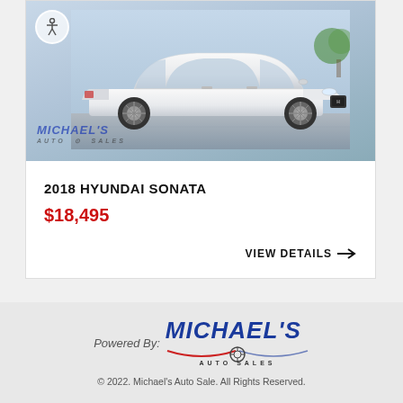[Figure (photo): White 2018 Hyundai Sonata sedan photographed outdoors with dealership watermark and accessibility icon overlay]
2018 HYUNDAI SONATA
$18,495
VIEW DETAILS →
[Figure (logo): Michael's Auto Sales logo in blue and red italic font with auto sales text and steering wheel icon]
© 2022. Michael's Auto Sale. All Rights Reserved.